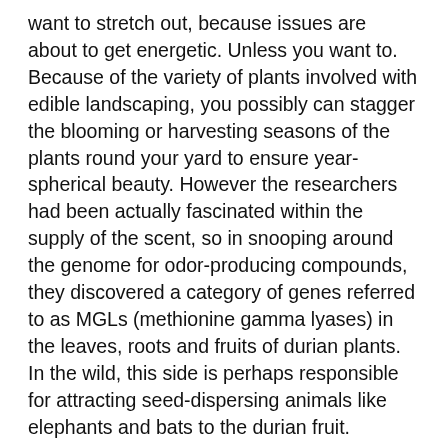want to stretch out, because issues are about to get energetic. Unless you want to. Because of the variety of plants involved with edible landscaping, you possibly can stagger the blooming or harvesting seasons of the plants round your yard to ensure year-spherical beauty. However the researchers had been actually fascinated within the supply of the scent, so in snooping around the genome for odor-producing compounds, they discovered a category of genes referred to as MGLs (methionine gamma lyases) in the leaves, roots and fruits of durian plants. In the wild, this side is perhaps responsible for attracting seed-dispersing animals like elephants and bats to the durian fruit.
The odor of a ripe durian (Durio zibethinus) has been in comparison with sweaty socks, roadkill custard, rotten eggs, a gasoline leak and “a sewer filled with rotting pineapples,” but still, the fruit has its superfans. Durians are so smelly, and thescent can linger for so long, that many hotels and public transportation in Singapore and Malaysia ban the fruit. As you